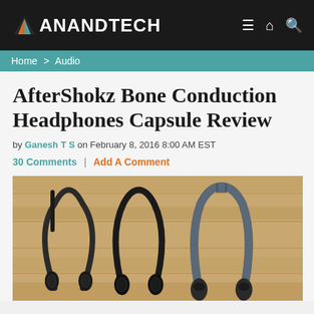AnandTech
Home > Audio
AfterShokz Bone Conduction Headphones Capsule Review
by Ganesh T S on February 8, 2016 8:00 AM EST
30 Comments | Add A Comment
[Figure (photo): Three AfterShokz bone conduction headphones laid flat on a wooden surface, viewed from the front, showing their open-ear design with neckband and transducer pads.]